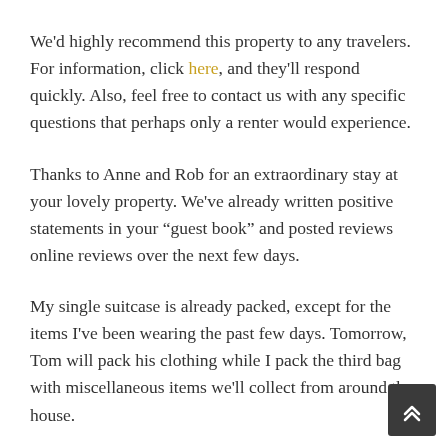We'd highly recommend this property to any travelers. For information, click here, and they'll respond quickly. Also, feel free to contact us with any specific questions that perhaps only a renter would experience.
Thanks to Anne and Rob for an extraordinary stay at your lovely property. We've already written positive statements in your "guest book" and posted reviews online reviews over the next few days.
My single suitcase is already packed, except for the items I've been wearing the past few days. Tomorrow, Tom will pack his clothing while I pack the third bag with miscellaneous items we'll collect from around the house.
Tomorrow, I'll briefly report on my condition after today's final contact with Dr. Angela Retchford in Geeveston. Then, on departure day in two days, we'll include the total